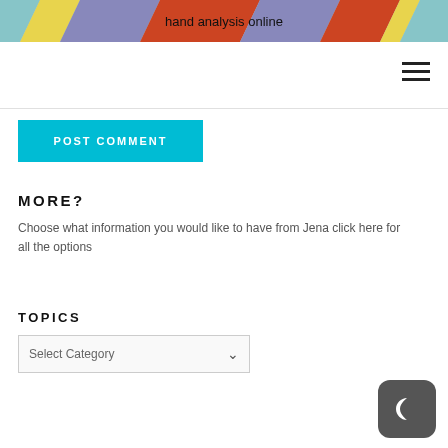hand analysis online
[Figure (logo): Colorful diagonal striped banner header with text 'hand analysis online' in center]
[Figure (illustration): Hamburger menu icon (three horizontal lines)]
[Figure (illustration): POST COMMENT button in cyan/teal color]
MORE?
Choose what information you would like to have from Jena click here for all the options
TOPICS
Select Category
[Figure (illustration): Dark mode toggle button with crescent moon icon]